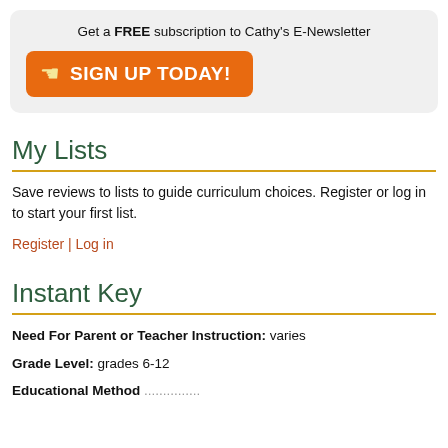Get a FREE subscription to Cathy's E-Newsletter
[Figure (other): Orange sign-up button with pointing hand icon and text SIGN UP TODAY!]
My Lists
Save reviews to lists to guide curriculum choices. Register or log in to start your first list.
Register | Log in
Instant Key
Need For Parent or Teacher Instruction: varies
Grade Level: grades 6-12